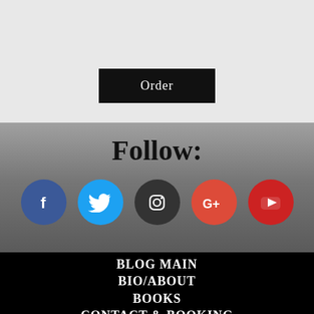[Figure (other): Order button on light grey background with partially visible book/product image above]
Follow:
[Figure (infographic): Row of five social media icon circles: Facebook (blue), Twitter (light blue), Instagram (dark grey), Google+ (orange-red), YouTube (red)]
BLOG MAIN
BIO/ABOUT
BOOKS
CONTACT & BOOKING
POST ARCHIVES